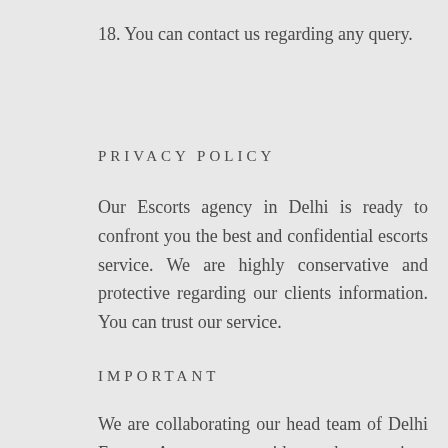18. You can contact us regarding any query.
PRIVACY POLICY
Our Escorts agency in Delhi is ready to confront you the best and confidential escorts service. We are highly conservative and protective regarding our clients information. You can trust our service.
IMPORTANT
We are collaborating our head team of Delhi Escorts Agency to provide you best services at every corner